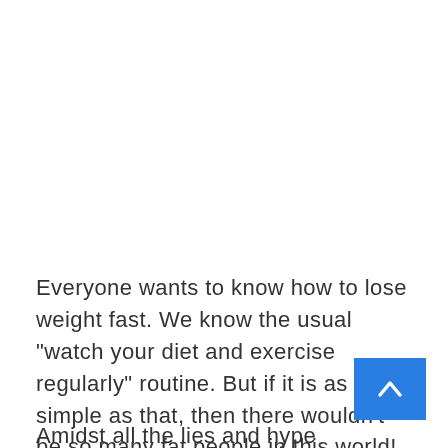Everyone wants to know how to lose weight fast. We know the usual "watch your diet and exercise regularly" routine. But if it is as simple as that, then there wouldn't be so many fat people in this world!
Amidst all the lies and hype surrounding the